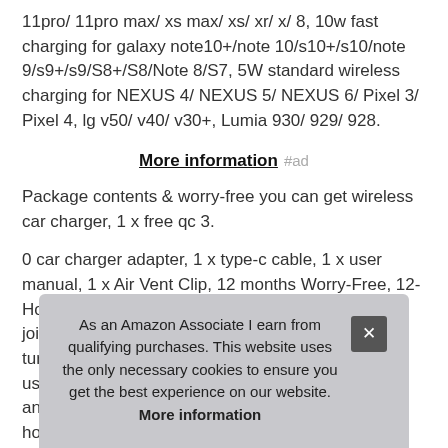11pro/ 11pro max/ xs max/ xs/ xr/ x/ 8, 10w fast charging for galaxy note10+/note 10/s10+/s10/note 9/s9+/s9/S8+/S8/Note 8/S7, 5W standard wireless charging for NEXUS 4/ NEXUS 5/ NEXUS 6/ Pixel 3/ Pixel 4, lg v50/ v40/ v30+, Lumia 930/ 929/ 928.
More information #ad
Package contents & worry-free you can get wireless car charger, 1 x free qc 3.
0 car charger adapter, 1 x type-c cable, 1 x user manual, 1 x Air Vent Clip, 12 months Worry-Free, 12-Hour response friendly customer service 360° ball joint pivot allowing you to easily turn use and hold the air vent with the attaching clip, so you can use it in most
As an Amazon Associate I earn from qualifying purchases. This website uses the only necessary cookies to ensure you get the best experience on our website. More information